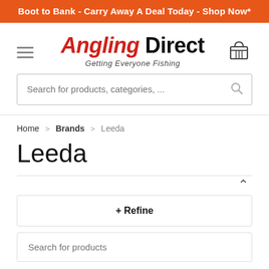Boot to Bank - Carry Away A Deal Today - Shop Now*
[Figure (logo): Angling Direct logo with tagline 'Getting Everyone Fishing']
Search for products, categories, ...
Home > Brands > Leeda
Leeda
+ Refine
Search for products